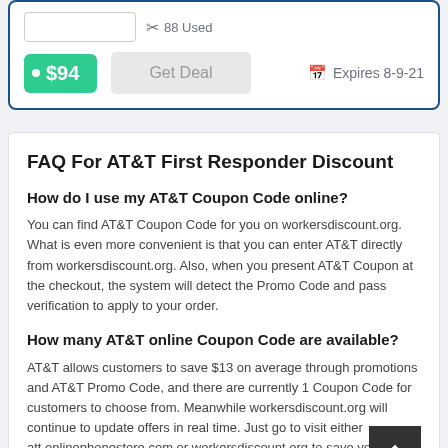[Figure (other): Coupon card with input box, scissors icon showing 88 Used, $94 price tag, Get Deal button, and Expires 8-9-21 text]
FAQ For AT&T First Responder Discount
How do I use my AT&T Coupon Code online?
You can find AT&T Coupon Code for you on workersdiscount.org. What is even more convenient is that you can enter AT&T directly from workersdiscount.org. Also, when you present AT&T Coupon at the checkout, the system will detect the Promo Code and pass verification to apply to your order.
How many AT&T online Coupon Code are available?
AT&T allows customers to save $13 on average through promotions and AT&T Promo Code, and there are currently 1 Coupon Code for customers to choose from. Meanwhile workersdiscount.org will continue to update offers in real time. Just go to visit either att.onlinephonestore.com or workersdiscount.org to save your money!